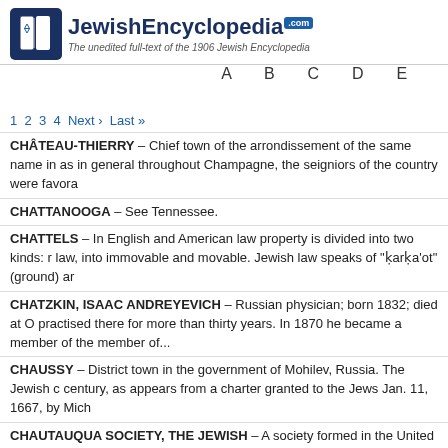JewishEncyclopedia.com — The unedited full-text of the 1906 Jewish Encyclopedia
A B C D E ...
1 2 3 4 Next › Last »
CHÂTEAU-THIERRY – Chief town of the arrondissement of the same name in... as in general throughout Champagne, the seigniors of the country were favora...
CHATTANOOGA – See Tennessee.
CHATTELS – In English and American law property is divided into two kinds: r... law, into immovable and movable. Jewish law speaks of "ḳarḳa'ot" (ground) ar...
CHATZKIN, ISAAC ANDREYEVICH – Russian physician; born 1832; died at O... practised there for more than thirty years. In 1870 he became a member of the... member of...
CHAUSSY – District town in the government of Mohilev, Russia. The Jewish c... century, as appears from a charter granted to the Jews Jan. 11, 1667, by Mich...
CHAUTAUQUA SOCIETY, THE JEWISH – A society formed in the United Stat... religion by fostering the study of its history and literature,giving popular course...
CHAVES – City in Portugal, which in the fourteenth century had a fairly large J... the Law was expounded by the rabbis." This school was subject to a special ta...